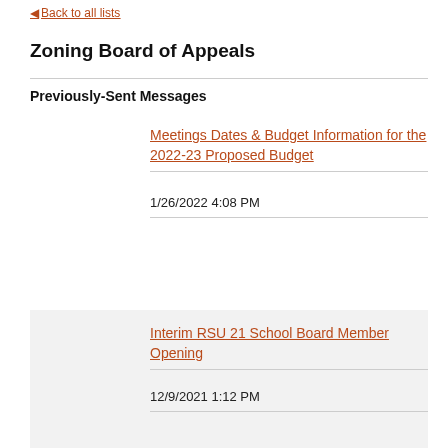◄ Back to all lists
Zoning Board of Appeals
Previously-Sent Messages
Meetings Dates & Budget Information for the 2022-23 Proposed Budget
1/26/2022 4:08 PM
Interim RSU 21 School Board Member Opening
12/9/2021 1:12 PM